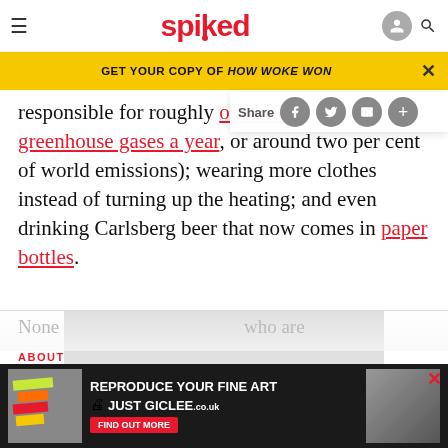spiked
GET YOUR COPY OF HOW WOKE WON
responsible for roughly one bill greenhouse gases a year, or around two per cent of world emissions); wearing more clothes instead of turning up the heating; and even drinking Carlsberg beer that now comes in paper bottles.
[Figure (other): Advertisement placeholder box (gray rectangle)]
None … who are
ABOUT
[Figure (other): Bottom advertisement banner for REPRODUCE YOUR FINE ART / JUST GICLEE]